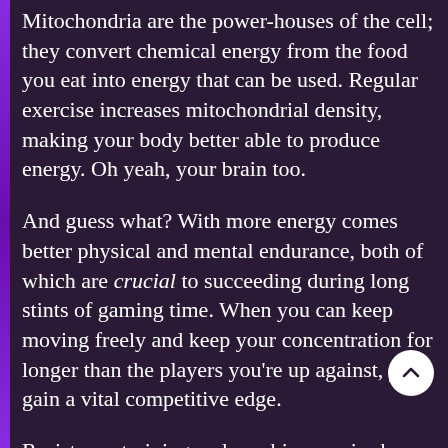Mitochondria are the power-houses of the cell; they convert chemical energy from the food you eat into energy that can be used. Regular exercise increases mitochondrial density, making your body better able to produce energy. Oh yeah, your brain too.
And guess what? With more energy comes better physical and mental endurance, both of which are crucial to succeeding during long stints of gaming time. When you can keep moving freely and keep your concentration for longer than the players you're up against, you gain a vital competitive edge.
Resistance training and aerobic exercise have